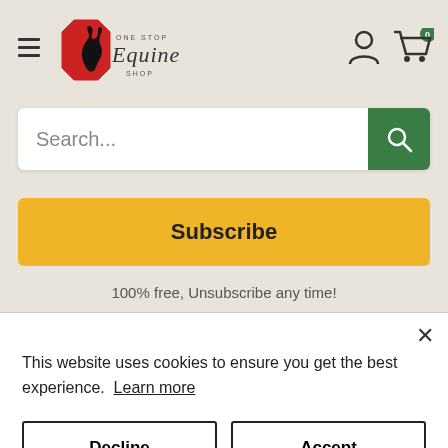[Figure (logo): One Stop Equine Shop logo with rearing black horse on red octagon and cursive text]
Search...
Subscribe
100% free, Unsubscribe any time!
This website uses cookies to ensure you get the best experience.  Learn more
Decline
Accept